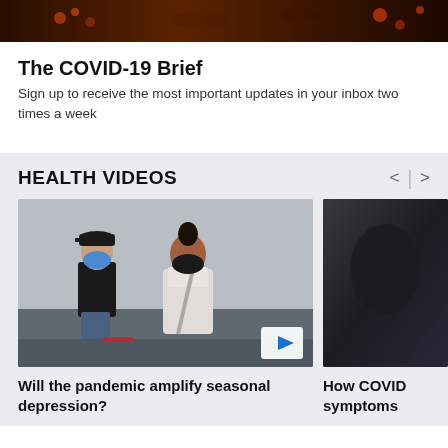[Figure (photo): Top banner image showing dark brown/reddish background with speckled texture, partially visible at top of page]
The COVID-19 Brief
Sign up to receive the most important updates in your inbox two times a week
HEALTH VIDEOS
[Figure (photo): Two people wearing face masks walking on a city street, one in black cap and black shirt, one with dark hair bun and white outfit, with a play button overlay in lower right corner]
Will the pandemic amplify seasonal depression?
[Figure (photo): Partially visible second video thumbnail showing a dark/blurred background]
How COVID symptoms